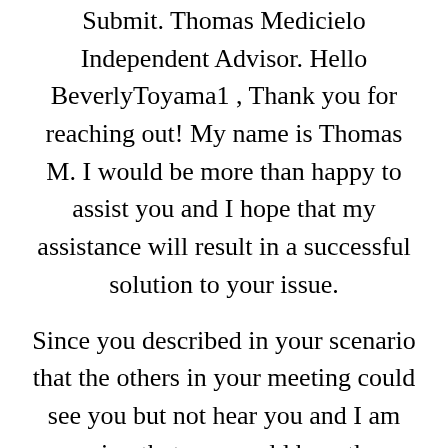Submit. Thomas Medicielo Independent Advisor. Hello BeverlyToyama1 , Thank you for reaching out! My name is Thomas M. I would be more than happy to assist you and I hope that my assistance will result in a successful solution to your issue.
Since you described in your scenario that the others in your meeting could see you but not hear you and I am assuming that you could hear them , that to me is indicative of an issue with Output.